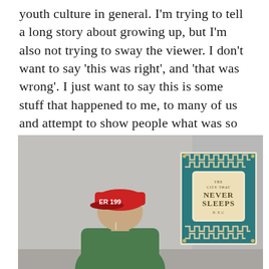youth culture in general. I'm trying to tell a long story about growing up, but I'm also not trying to sway the viewer. I don't want to say 'this was right', and 'that was wrong'. I just want to say this is some stuff that happened to me, to many of us and attempt to show people what was so interestingly authentic about coming of age in the '90s in downtown New York City.
[Figure (photo): A person wearing a red baseball cap and green jacket, viewed from behind, looking at a decorative teal and cream poster on a grey wall that reads 'THE CITY THAT NEVER SLEEPS N.Y.C' with Greek key border pattern.]